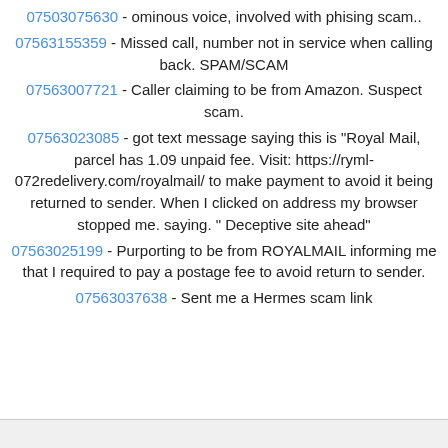07503075630 - ominous voice, involved with phising scam..
07563155359 - Missed call, number not in service when calling back. SPAM/SCAM
07563007721 - Caller claiming to be from Amazon. Suspect scam.
07563023085 - got text message saying this is "Royal Mail, parcel has 1.09 unpaid fee. Visit: https://ryml-072redelivery.com/royalmail/ to make payment to avoid it being returned to sender. When I clicked on address my browser stopped me. saying. " Deceptive site ahead"
07563025199 - Purporting to be from ROYALMAIL informing me that I required to pay a postage fee to avoid return to sender.
07563037638 - Sent me a Hermes scam link